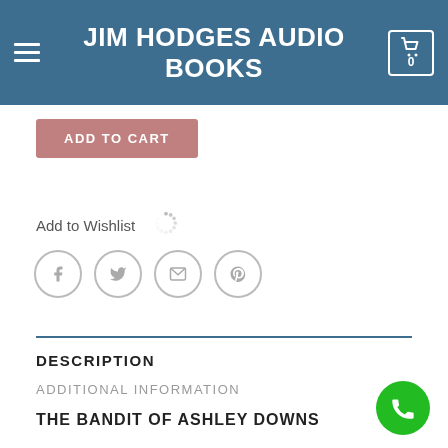JIM HODGES AUDIO BOOKS
ADD TO CART
Add to Wishlist
[Figure (infographic): Loading spinner icon (circular dashed ring indicating loading state)]
[Figure (infographic): Social share icons: Facebook, Twitter, Email, Pinterest — circular outlined icons in a row]
DESCRIPTION
ADDITIONAL INFORMATION
THE BANDIT OF ASHLEY DOWNS
[Figure (infographic): Green circular phone/call button in bottom-right corner]